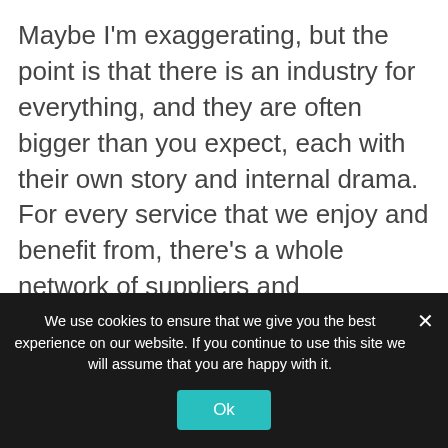Maybe I'm exaggerating, but the point is that there is an industry for everything, and they are often bigger than you expect, each with their own story and internal drama. For every service that we enjoy and benefit from, there's a whole network of suppliers and distributors dedicated to providing that service – and that adds up to a lot of trade shows.
With that in mind, the following is a list of trade shows booked in for July. The events industry might be struggling for
We use cookies to ensure that we give you the best experience on our website. If you continue to use this site we will assume that you are happy with it.